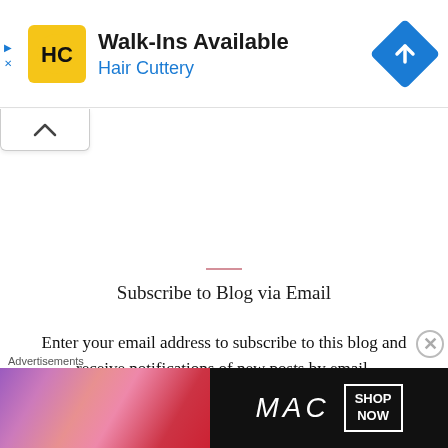[Figure (screenshot): Hair Cuttery advertisement banner with yellow HC logo, 'Walk-Ins Available' headline, 'Hair Cuttery' subheading in blue, and a blue diamond navigation icon on the right]
[Figure (screenshot): White collapse/minimize tab with an upward caret arrow icon]
Subscribe to Blog via Email
Enter your email address to subscribe to this blog and receive notifications of new posts by email.
[Figure (screenshot): MAC Cosmetics advertisement banner showing colorful lipsticks on the left side and MAC logo with 'SHOP NOW' button on a dark background]